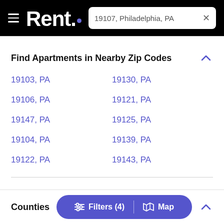Rent. — 19107, Philadelphia, PA
Find Apartments in Nearby Zip Codes
19103, PA
19130, PA
19106, PA
19121, PA
19147, PA
19125, PA
19104, PA
19139, PA
19122, PA
19143, PA
Counties — Filters (4) | Map